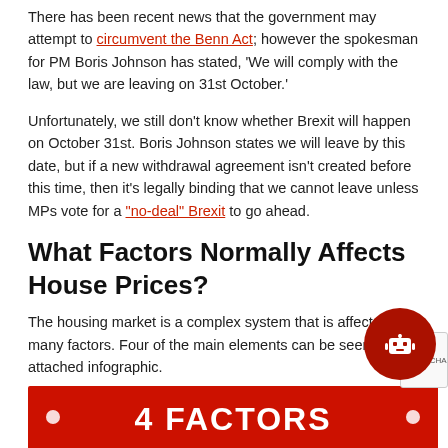There has been recent news that the government may attempt to circumvent the Benn Act; however the spokesman for PM Boris Johnson has stated, 'We will comply with the law, but we are leaving on 31st October.'
Unfortunately, we still don't know whether Brexit will happen on October 31st. Boris Johnson states we will leave by this date, but if a new withdrawal agreement isn't created before this time, then it's legally binding that we cannot leave unless MPs vote for a "no-deal" Brexit to go ahead.
What Factors Normally Affects House Prices?
The housing market is a complex system that is affected by many factors. Four of the main elements can be seen in the attached infographic.
[Figure (infographic): Red infographic banner at the bottom showing '4 FACTORS' text with white decorative dots on left and right]